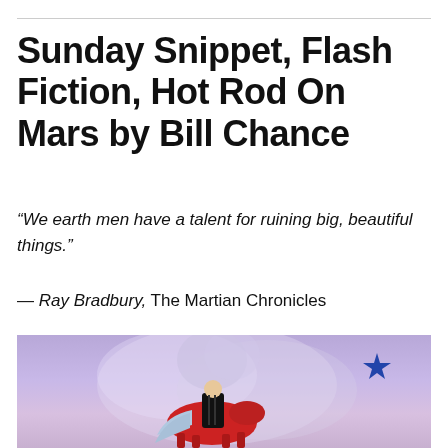Sunday Snippet, Flash Fiction, Hot Rod On Mars by Bill Chance
“We earth men have a talent for ruining big, beautiful things.”
— Ray Bradbury, The Martian Chronicles
[Figure (illustration): Illustrated scene with a figure on horseback against a purple/lavender sky with a blue star, style reminiscent of science fiction pulp art]